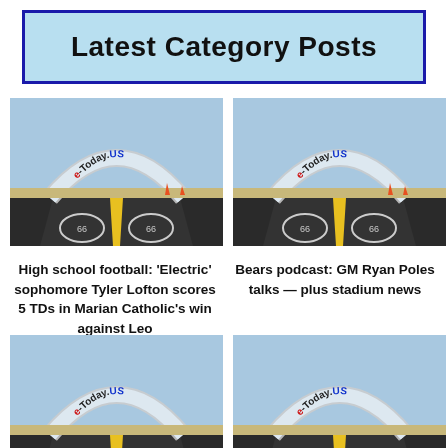Latest Category Posts
[Figure (photo): Route 66 road with e-Today.US arch balloon overhead]
High school football: 'Electric' sophomore Tyler Lofton scores 5 TDs in Marian Catholic's win against Leo
[Figure (photo): Route 66 road with e-Today.US arch balloon overhead]
Bears podcast: GM Ryan Poles talks — plus stadium news
[Figure (photo): Route 66 road with e-Today.US arch balloon overhead (bottom left)]
[Figure (photo): Route 66 road with e-Today.US arch balloon overhead (bottom right)]